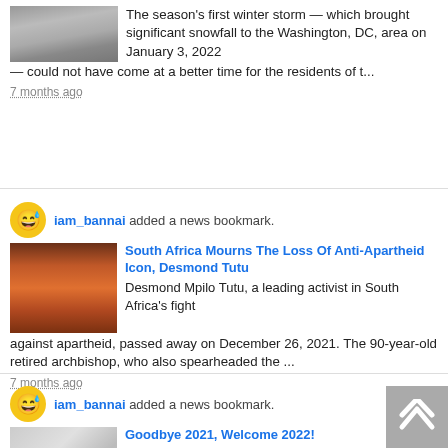[Figure (screenshot): Partial news feed item showing snow image and text about Washington DC winter storm on January 3, 2022]
The season's first winter storm — which brought significant snowfall to the Washington, DC, area on January 3, 2022 — could not have come at a better time for the residents of t...
7 months ago
iam_bannai added a news bookmark.
South Africa Mourns The Loss Of Anti-Apartheid Icon, Desmond Tutu
Desmond Mpilo Tutu, a leading activist in South Africa's fight against apartheid, passed away on December 26, 2021. The 90-year-old retired archbishop, who also spearheaded the ...
7 months ago
iam_bannai added a news bookmark.
Goodbye 2021, Welcome 2022!
On December 31, 2021, the world happily bid farewell to yet another year of COVID uncertainties and